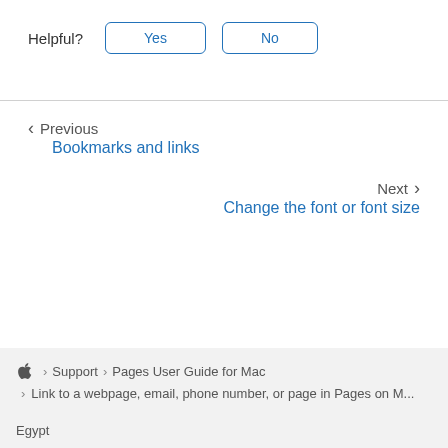Helpful?  Yes  No
< Previous
Bookmarks and links
Next >
Change the font or font size
Apple > Support > Pages User Guide for Mac
> Link to a webpage, email, phone number, or page in Pages on M...
Egypt